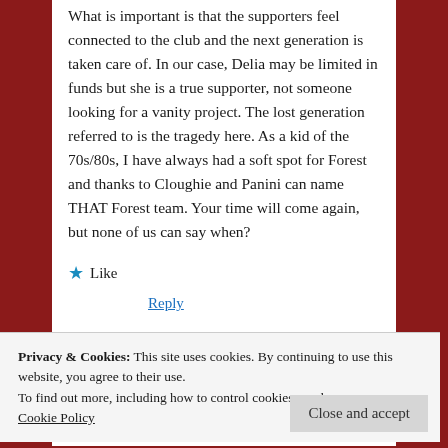What is important is that the supporters feel connected to the club and the next generation is taken care of. In our case, Delia may be limited in funds but she is a true supporter, not someone looking for a vanity project. The lost generation referred to is the tragedy here. As a kid of the 70s/80s, I have always had a soft spot for Forest and thanks to Cloughie and Panini can name THAT Forest team. Your time will come again, but none of us can say when?
★ Like
Reply
Privacy & Cookies: This site uses cookies. By continuing to use this website, you agree to their use.
To find out more, including how to control cookies, see here:
Cookie Policy
Close and accept
One of the best things I have read on a blog